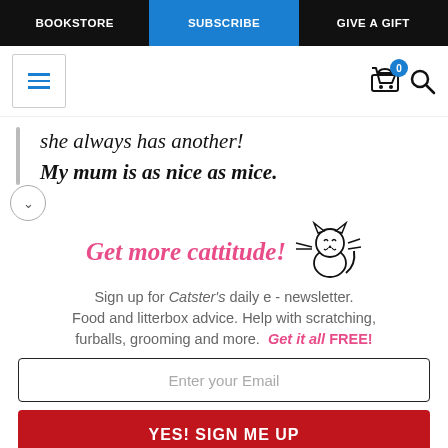BOOKSTORE | SUBSCRIBE | GIVE A GIFT
she always has another!
My mum is as nice as mice.
[Figure (illustration): Cat illustration, line drawing of a happy sitting cat with motion lines]
Get more cattitude!
Sign up for Catster's daily e - newsletter. Food and litterbox advice. Help with scratching, furballs, grooming and more. Get it all FREE!
Enter your Email
YES! SIGN ME UP